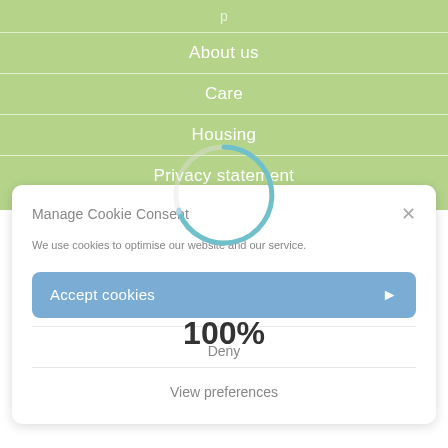About us
Care
Housing
Privacy statement
Manage Cookie Consent
We use cookies to optimise our website and our service.
Accept cookies
Deny
View preferences
[Figure (infographic): Circular loading spinner, partially drawn arc in blue-grey, overlapping the green menu and white modal. Large bold text '100%' displayed in the center area.]